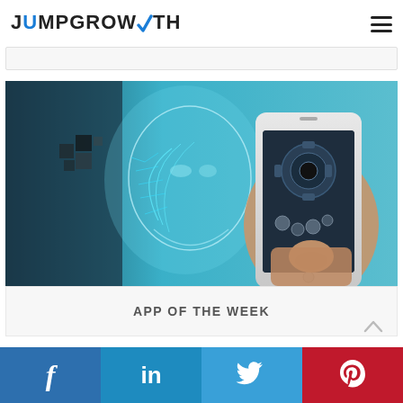JumpGrowth
[Figure (photo): A robot/AI face with circuit lines on the left, and a hand holding a smartphone with industrial/mechanical imagery on screen, against a teal/blue background]
APP OF THE WEEK
Facebook | LinkedIn | Twitter | Pinterest social share bar